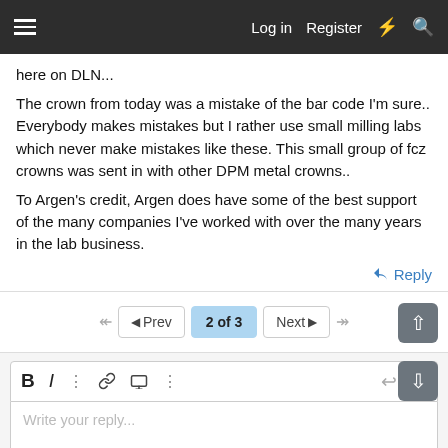Log in  Register
here on DLN...
The crown from today was a mistake of the bar code I'm sure.. Everybody makes mistakes but I rather use small milling labs which never make mistakes like these. This small group of fcz crowns was sent in with other DPM metal crowns..
To Argen's credit, Argen does have some of the best support of the many companies I've worked with over the many years in the lab business.
Reply
2 of 3
Write your reply...